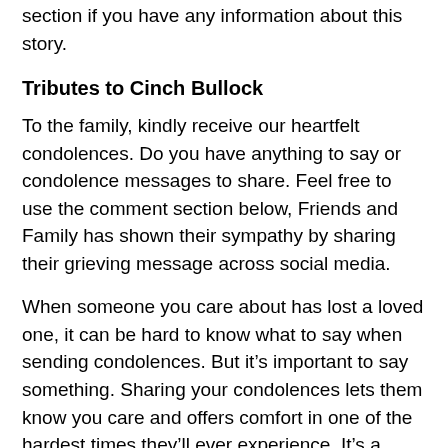information about the deceased, feel free to use the comment section if you have any information about this story.
Tributes to Cinch Bullock
To the family, kindly receive our heartfelt condolences. Do you have anything to say or condolence messages to share. Feel free to use the comment section below, Friends and Family has shown their sympathy by sharing their grieving message across social media.
When someone you care about has lost a loved one, it can be hard to know what to say when sending condolences. But it’s important to say something. Sharing your condolences lets them know you care and offers comfort in one of the hardest times they’ll ever experience. It’s a loving gesture that means a lot.
Cinch Bullock GoFundMe Page
At the moment, we are not sure if any GoFundMe me account